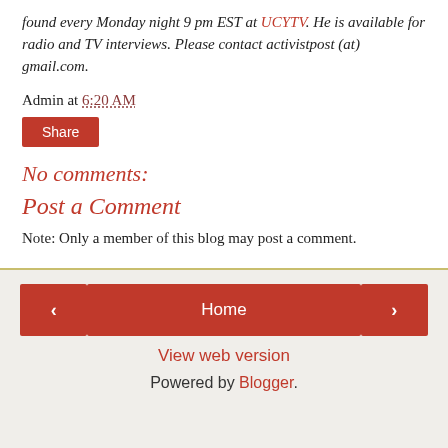found every Monday night 9 pm EST at UCYTV. He is available for radio and TV interviews. Please contact activistpost (at) gmail.com.
Admin at 6:20 AM
Share
No comments:
Post a Comment
Note: Only a member of this blog may post a comment.
< Home > View web version Powered by Blogger.